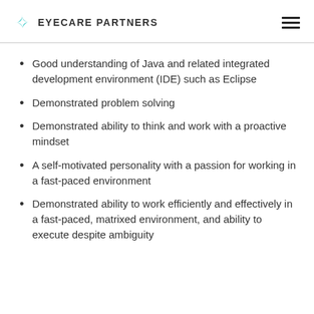EYECARE PARTNERS
Good understanding of Java and related integrated development environment (IDE) such as Eclipse
Demonstrated problem solving
Demonstrated ability to think and work with a proactive mindset
A self-motivated personality with a passion for working in a fast-paced environment
Demonstrated ability to work efficiently and effectively in a fast-paced, matrixed environment, and ability to execute despite ambiguity